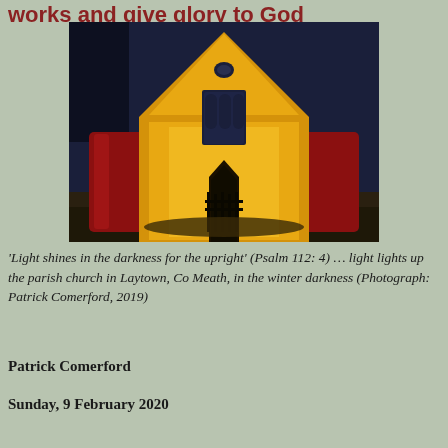works and give glory to God
[Figure (photo): A Gothic-style stone church illuminated at night with golden and red lighting against a dark blue sky. The church has a pointed gable roof, arched windows, and an ornate entrance gate. The photograph was taken in winter.]
'Light shines in the darkness for the upright' (Psalm 112: 4) … light lights up the parish church in Laytown, Co Meath, in the winter darkness (Photograph: Patrick Comerford, 2019)
Patrick Comerford
Sunday, 9 February 2020